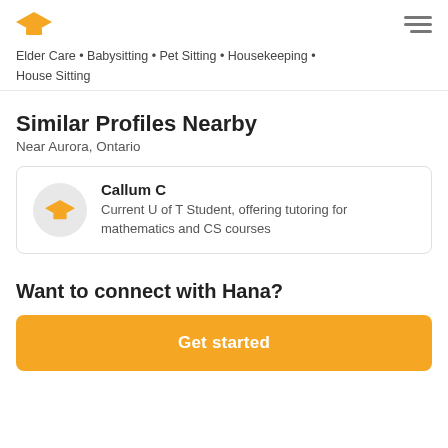Logo and navigation menu
Elder Care • Babysitting • Pet Sitting • Housekeeping • House Sitting
Similar Profiles Nearby
Near Aurora, Ontario
Callum C — Current U of T Student, offering tutoring for mathematics and CS courses
Want to connect with Hana?
Get started